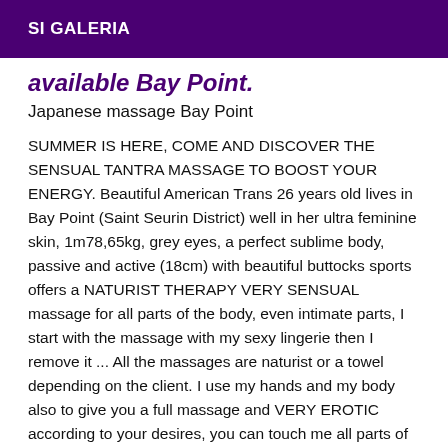SI GALERIA
available Bay Point.
Japanese massage Bay Point
SUMMER IS HERE, COME AND DISCOVER THE SENSUAL TANTRA MASSAGE TO BOOST YOUR ENERGY. Beautiful American Trans 26 years old lives in Bay Point (Saint Seurin District) well in her ultra feminine skin, 1m78,65kg, grey eyes, a perfect sublime body, passive and active (18cm) with beautiful buttocks sports offers a NATURIST THERAPY VERY SENSUAL massage for all parts of the body, even intimate parts, I start with the massage with my sexy lingerie then I remove it ... All the massages are naturist or a towel depending on the client. I use my hands and my body also to give you a full massage and VERY EROTIC according to your desires, you can touch me all parts of my body, there is no problem, I am very open according to your desires..... a lot of hot contact from body to body